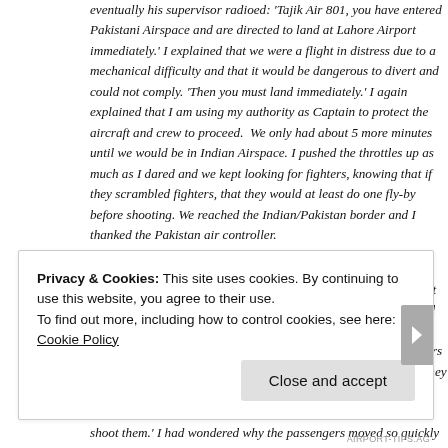eventually his supervisor radioed: 'Tajik Air 801, you have entered Pakistani Airspace and are directed to land at Lahore Airport immediately.' I explained that we were a flight in distress due to a mechanical difficulty and that it would be dangerous to divert and could not comply. 'Then you must land immediately.' I again explained that I am using my authority as Captain to protect the aircraft and crew to proceed.  We only had about 5 more minutes until we would be in Indian Airspace. I pushed the throttles up as much as I dared and we kept looking for fighters, knowing that if they scrambled fighters, that they would at least do one fly-by before shooting. We reached the Indian/Pakistan border and I thanked the Pakistan air controller.
"We landed at Delhi and taxied to the gate where I could see the smiling passengers through the big windows as they waited to get their luggage. Entering the terminal, I saw our Flight Purser and mentioned again how glad I was to have thought of the idea of having the guards show off their weapons to assure the passengers that their belongings would be safe. She said, 'Oh no Captain. They didn't get off the plane because they thought your weapons idea was good. They got off because they thought you were going to shoot them.' I had wondered why the passengers moved so quickly out of my way as I walked down the ramp."
Privacy & Cookies: This site uses cookies. By continuing to use this website, you agree to their use.
To find out more, including how to control cookies, see here: Cookie Policy
Close and accept
AIRPORT-TIPS.AG